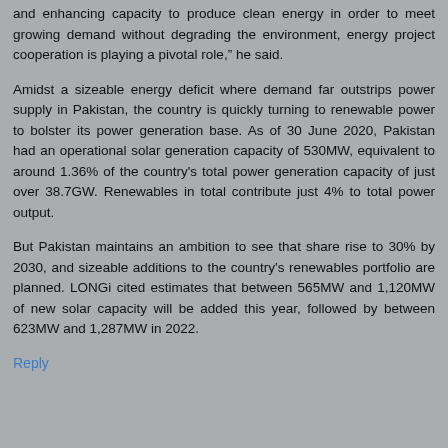and enhancing capacity to produce clean energy in order to meet growing demand without degrading the environment, energy project cooperation is playing a pivotal role," he said.
Amidst a sizeable energy deficit where demand far outstrips power supply in Pakistan, the country is quickly turning to renewable power to bolster its power generation base. As of 30 June 2020, Pakistan had an operational solar generation capacity of 530MW, equivalent to around 1.36% of the country's total power generation capacity of just over 38.7GW. Renewables in total contribute just 4% to total power output.
But Pakistan maintains an ambition to see that share rise to 30% by 2030, and sizeable additions to the country's renewables portfolio are planned. LONGi cited estimates that between 565MW and 1,120MW of new solar capacity will be added this year, followed by between 623MW and 1,287MW in 2022.
Reply